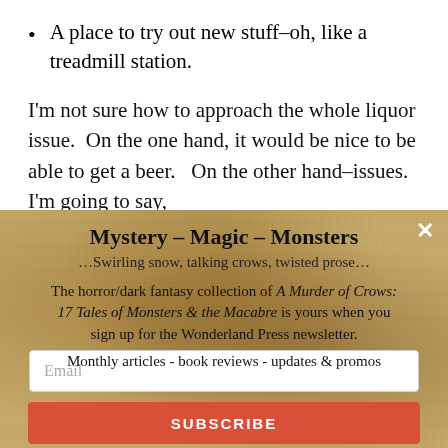A place to try out new stuff–oh, like a treadmill station.
I'm not sure how to approach the whole liquor issue.  On the one hand, it would be nice to be able to get a beer.  On the other hand–issues.  I'm going to say,
Mystery - Magic - Monsters
…Swirling snow, talking crows, twisted prose…
The horror/dark fantasy collection of A Murder of Crows: 17 Tales of Monsters & the Macabre is yours when you sign up for the Wonderland Press newsletter.
Monthly articles - book reviews - updates & promos